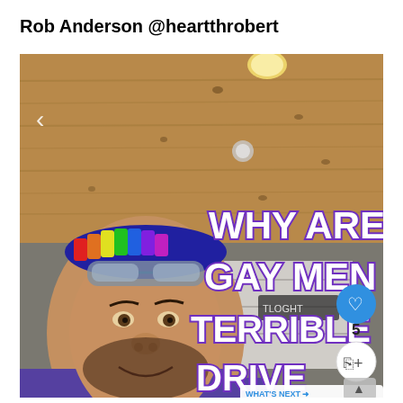Rob Anderson @heartthrobert
[Figure (screenshot): Screenshot of a social media video post showing a man with a rainbow cap and goggles on his head, wearing a purple shirt, with text overlay reading 'WHY ARE GAY MEN TERRIBLE DRIVE...' in white bold text with purple outline. Right side shows like button with count 5, share button, and a 'WHAT'S NEXT' panel showing 'Gay Travel Europe 2022...']